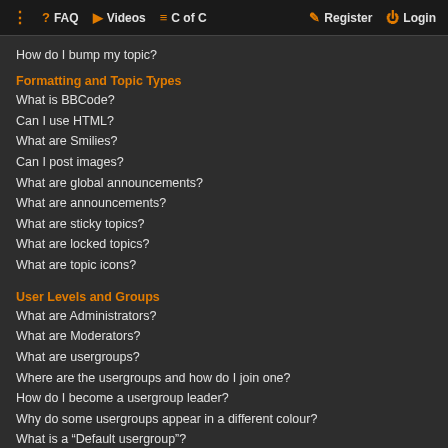⠿ FAQ  ▶ Videos  ≡ C of C    Register  Login
How do I bump my topic?
Formatting and Topic Types
What is BBCode?
Can I use HTML?
What are Smilies?
Can I post images?
What are global announcements?
What are announcements?
What are sticky topics?
What are locked topics?
What are topic icons?
User Levels and Groups
What are Administrators?
What are Moderators?
What are usergroups?
Where are the usergroups and how do I join one?
How do I become a usergroup leader?
Why do some usergroups appear in a different colour?
What is a “Default usergroup”?
What is “The team” link?
Private Messaging
I cannot send private messages!
I keep getting unwanted private messages!